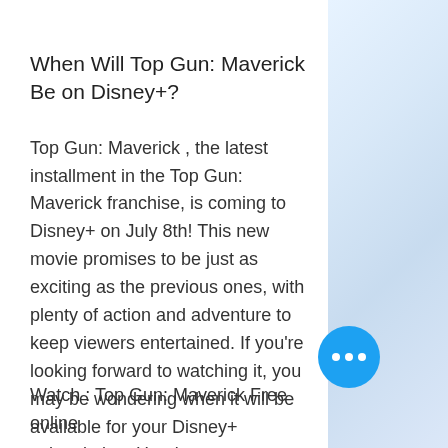When Will Top Gun: Maverick Be on Disney+?
Top Gun: Maverick , the latest installment in the Top Gun: Maverick franchise, is coming to Disney+ on July 8th! This new movie promises to be just as exciting as the previous ones, with plenty of action and adventure to keep viewers entertained. If you're looking forward to watching it, you may be wondering when it will be available for your Disney+ subscription. Here's an answer to that question!
Watch : Top Gun: Maverick Free online